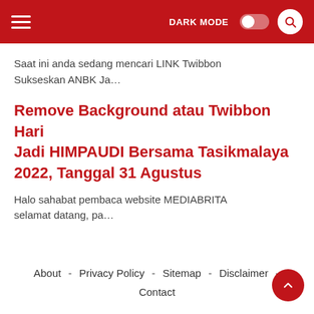DARK MODE [toggle] [search]
Saat ini anda sedang mencari LINK Twibbon Sukseskan ANBK Ja…
Remove Background atau Twibbon Hari Jadi HIMPAUDI Bersama Tasikmalaya 2022, Tanggal 31 Agustus
Halo sahabat pembaca website MEDIABRITA selamat datang, pa…
About - Privacy Policy - Sitemap - Disclaimer - Contact